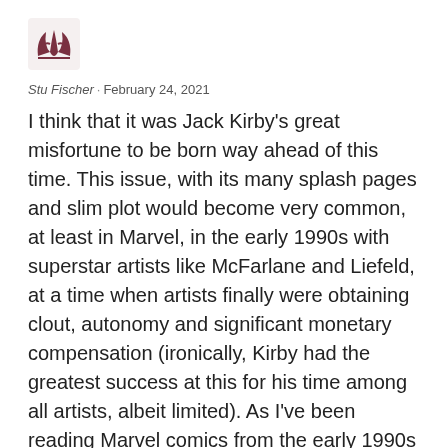[Figure (logo): Small avatar icon with leaf/foliage motif in dark red/maroon color]
Stu Fischer · February 24, 2021
I think that it was Jack Kirby's great misfortune to be born way ahead of this time. This issue, with its many splash pages and slim plot would become very common, at least in Marvel, in the early 1990s with superstar artists like McFarlane and Liefeld, at a time when artists finally were obtaining clout, autonomy and significant monetary compensation (ironically, Kirby had the greatest success at this for his time among all artists, albeit limited). As I've been reading Marvel comics from the early 1990s for the past year or so, I was struck at how in tune this issue would be with books of that era (minus the grit and gore of course).